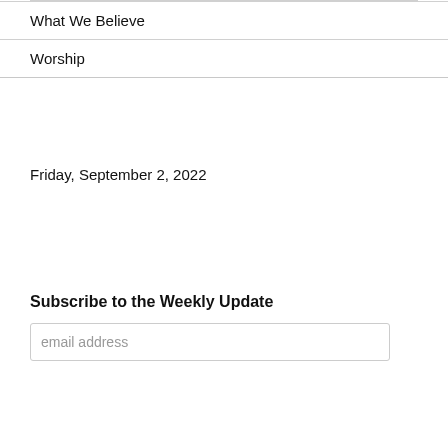What We Believe
Worship
Friday, September 2, 2022
Subscribe to the Weekly Update
email address